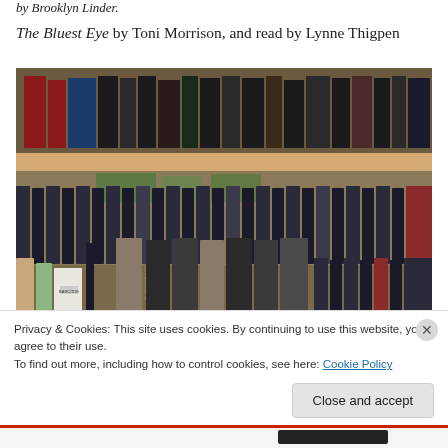The Bluest Eye by Toni Morrison, and read by Lynne Thigpen
[Figure (photo): Photograph of library bookshelves showing rows of books, including what appear to be audio book sets in dark binders, on wooden shelves.]
Privacy & Cookies: This site uses cookies. By continuing to use this website, you agree to their use.
To find out more, including how to control cookies, see here: Cookie Policy
Close and accept